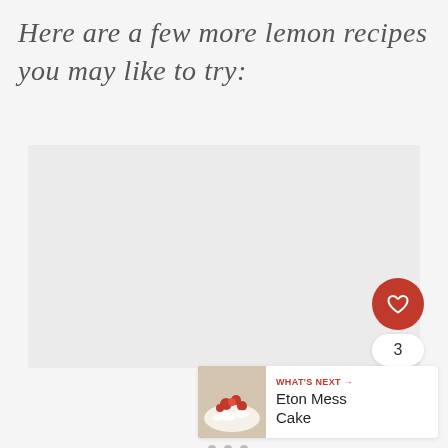Here are a few more lemon recipes you may like to try:
[Figure (other): Gray content area placeholder with slide dots indicator, a red circular like/favorite button with heart icon, a count bubble showing '3', a white circular share button, and a 'What's Next' card in the bottom right showing 'Eton Mess Cake' with a food photo thumbnail.]